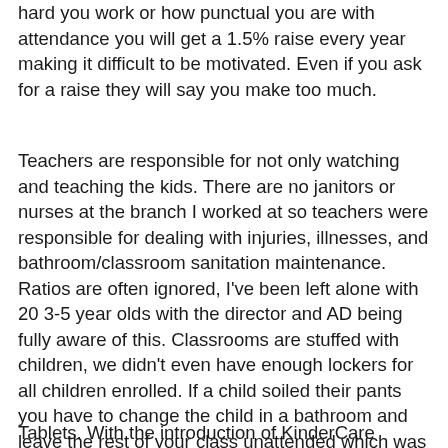hard you work or how punctual you are with attendance you will get a 1.5% raise every year making it difficult to be motivated. Even if you ask for a raise they will say you make too much.
Teachers are responsible for not only watching and teaching the kids. There are no janitors or nurses at the branch I worked at so teachers were responsible for dealing with injuries, illnesses, and bathroom/classroom sanitation maintenance. Ratios are often ignored, I've been left alone with 20 3-5 year olds with the director and AD being fully aware of this. Classrooms are stuffed with children, we didn't even have enough lockers for all children enrolled. If a child soiled their pants you have to change the child in a bathroom and leave the rest of your class unattended which was extremely dangerous.
Tablets. With the introduction of KinderCare